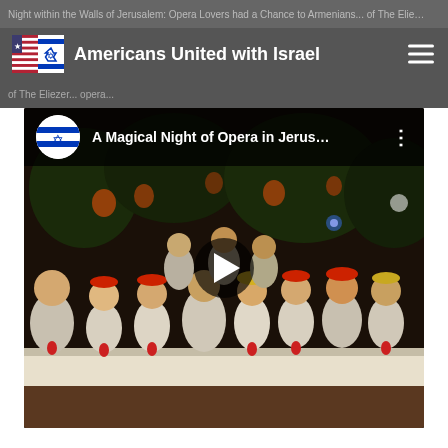Night within the Walls of Jerusalem: Opera Lovers had a Chance to...
Americans United with Israel
[Figure (screenshot): YouTube-style video embed thumbnail showing 'A Magical Night of Opera in Jerus...' with a play button overlay. The thumbnail shows opera performers on stage in costume holding red roses, seated at a long table. The channel icon shows the Israeli flag with a Star of David.]